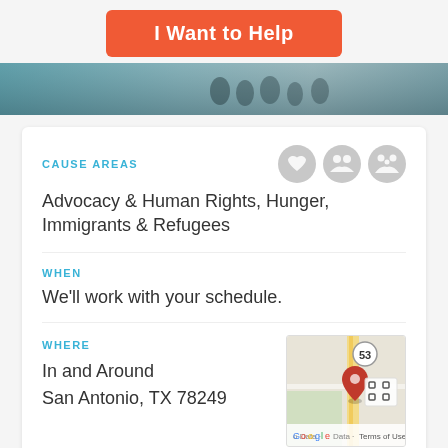I Want to Help
[Figure (photo): Hero banner image showing people in a crowd, with teal/blue tones]
CAUSE AREAS
Advocacy & Human Rights, Hunger, Immigrants & Refugees
WHEN
We'll work with your schedule.
WHERE
In and Around
San Antonio, TX 78249
[Figure (map): Google Maps thumbnail showing San Antonio TX 78249 area with a red location pin and route 53 marker]
DATE POSTED